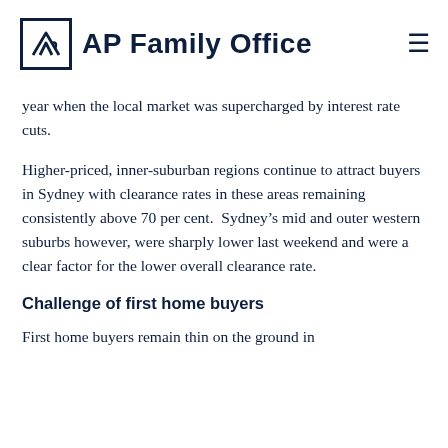AP Family Office
year when the local market was supercharged by interest rate cuts.
Higher-priced, inner-suburban regions continue to attract buyers in Sydney with clearance rates in these areas remaining consistently above 70 per cent.  Sydney’s mid and outer western suburbs however, were sharply lower last weekend and were a clear factor for the lower overall clearance rate.
Challenge of first home buyers
First home buyers remain thin on the ground in